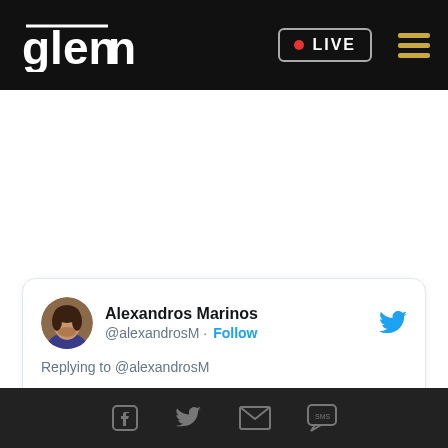glenn • LIVE
[Figure (screenshot): Tweet card from Alexandros Marinos (@alexandrosM) with Follow button and Twitter bird icon. Replying to @alexandrosM. Tweet text: "There's an algorithm I run more than most, called intellectual honesty".]
Social share icons: Facebook, Twitter, Email, SMS